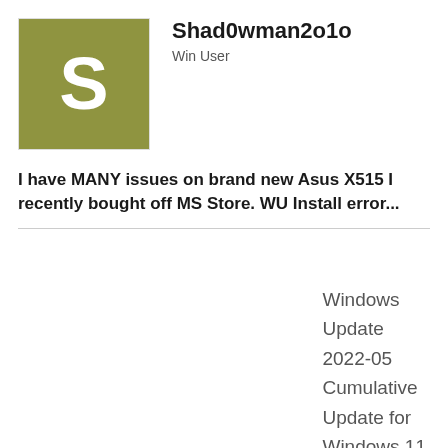[Figure (illustration): Square avatar with olive/khaki green background and a white letter S centered in it]
Shad0wman2o1o
Win User
I have MANY issues on brand new Asus X515 I recently bought off MS Store. WU Install error...
Windows Update 2022-05 Cumulative Update for Windows 11 for x64-based Systems KB5013943i